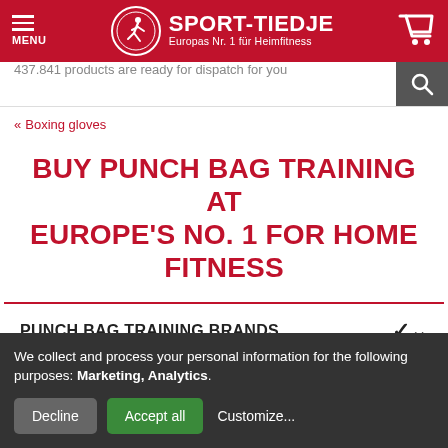[Figure (logo): Sport-Tiedje logo with red background, running figure icon in white circle, white text 'SPORT-TIEDJE' and subtitle 'Europas Nr. 1 für Heimfitness', hamburger menu icon left, shopping cart icon right]
437.841 products are ready for dispatch for you
« Boxing gloves
BUY PUNCH BAG TRAINING AT EUROPE'S NO. 1 FOR HOME FITNESS
PUNCH BAG TRAINING BRANDS
We collect and process your personal information for the following purposes: Marketing, Analytics.
Decline  Accept all  Customize...